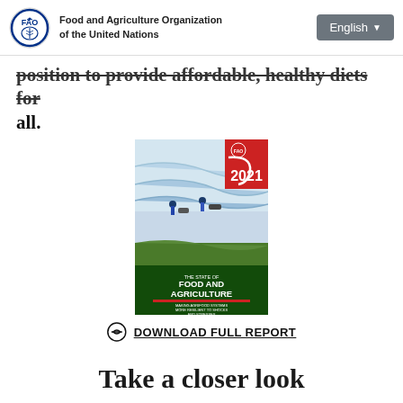Food and Agriculture Organization of the United Nations | English
position to provide affordable, healthy diets for all.
[Figure (illustration): Book cover of 'The State of Food and Agriculture 2021 - Making Agrifood Systems More Resilient to Shocks and Stresses', showing farmers working on rice terraces]
DOWNLOAD FULL REPORT
Take a closer look